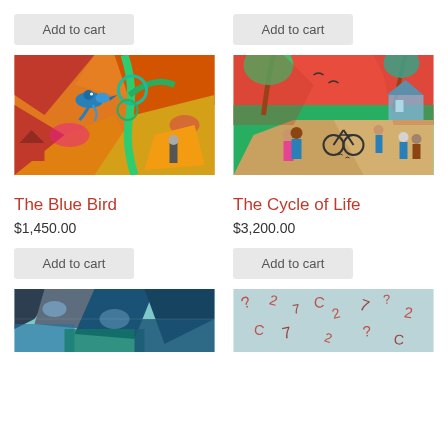Add to cart
Add to cart
[Figure (illustration): Colorful expressionist painting of a blue bird perched on a branch with swirling orange, red, yellow foliage background - The Blue Bird artwork]
The Blue Bird
$1,450.00
Add to cart
[Figure (illustration): Colorful painting of a village scene with a couple embracing, bicycle, figures on a road, trees, and pink/red sky - The Cycle of Life artwork]
The Cycle of Life
$3,200.00
Add to cart
[Figure (illustration): Abstract painting with blues, greens, and dark colors showing fragmented figures and shapes]
[Figure (illustration): Abstract painting with light blue background and red/brown scattered figures or marks on textured surface]